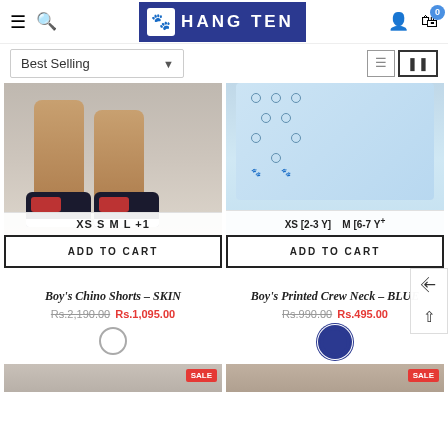Hang Ten - Best Selling products e-commerce header with navigation icons
Best Selling
[Figure (photo): Boy's Chino Shorts product photo showing child's legs wearing dark high-top sneakers with red design, on grey background. Sizes shown: XS S M L +1]
[Figure (photo): Boy's Printed Crew Neck shirt product photo showing child wearing light blue patterned short sleeve shirt. Sizes shown: XS [2-3 Y] M [6-7 Y]]
ADD TO CART
ADD TO CART
Boy's Chino Shorts - SKIN
Boy's Printed Crew Neck - BLUE
Rs.2,190.00 Rs.1,095.00
Rs.990.00 Rs.495.00